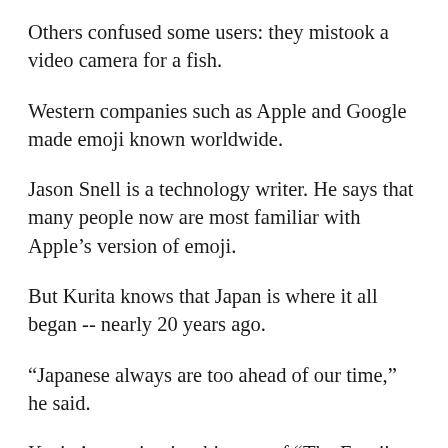Others confused some users: they mistook a video camera for a fish.
Western companies such as Apple and Google made emoji known worldwide.
Jason Snell is a technology writer. He says that many people now are most familiar with Apple's version of emoji.
But Kurita knows that Japan is where it all began -- nearly 20 years ago.
“Japanese always are too ahead of our time,” he said.
Kurita’s creation is a big part of “The Emoji Movie,” a 2017 film by Sony Pictures about emoji that live inside the world of a smartphone. It has not taken long since